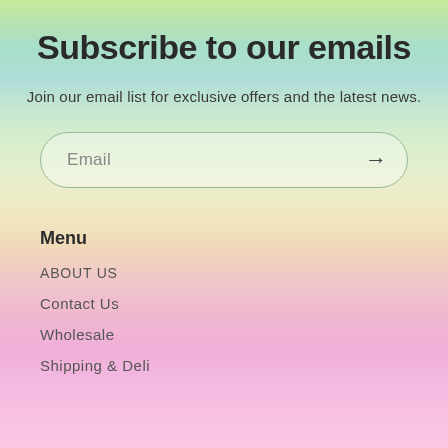Subscribe to our emails
Join our email list for exclusive offers and the latest news.
Email →
Menu
ABOUT US
Contact Us
Wholesale
Shipping & Deli…